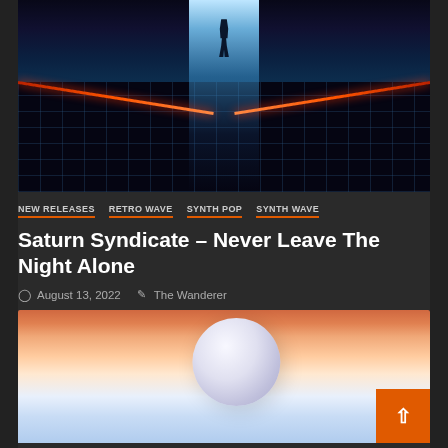[Figure (screenshot): Sci-fi dark corridor with neon blue light beam, red glowing lines, silhouette of a person, grid floor perspective — synthwave aesthetic]
NEW RELEASES
RETRO WAVE
SYNTH POP
SYNTH WAVE
Saturn Syndicate – Never Leave The Night Alone
August 13, 2022   The Wanderer
[Figure (photo): Dreamy cosmic scene with a large moon/planet, colorful sunset sky with pinks, oranges, and blues, ethereal atmosphere]